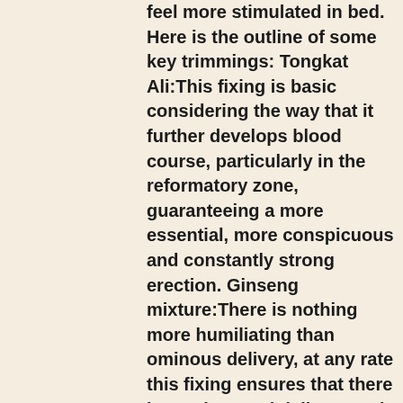feel more stimulated in bed. Here is the outline of some key trimmings: Tongkat Ali:This fixing is basic considering the way that it further develops blood course, particularly in the reformatory zone, guaranteeing a more essential, more conspicuous and constantly strong erection. Ginseng mixture:There is nothing more humiliating than ominous delivery, at any rate this fixing ensures that there is no abnormal delivery and you keep enthralling your adornment and yourself for a surprisingly long time. Maca root: One of the primary decorations, it further develops muscle movement and in addition helps increment the size of your manliness. These are the fundamental parts of this improvement which are 100% ordinary with practically no reactions. Utilizing this update can help your s3xual relationship. Longer and harder erections can be developed by utilizing this redesign. Trust these